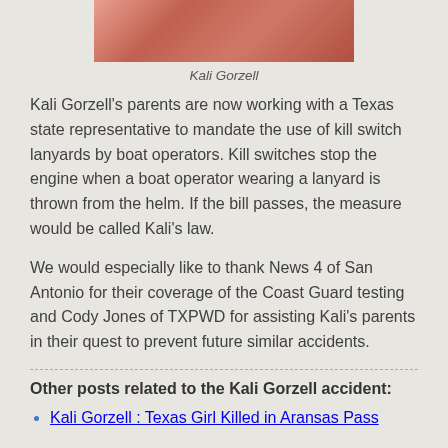[Figure (photo): Close-up photo of Kali Gorzell, partial face visible with warm reddish-pink tones]
Kali Gorzell
Kali Gorzell's parents are now working with a Texas state representative to mandate the use of kill switch lanyards by boat operators. Kill switches stop the engine when a boat operator wearing a lanyard is thrown from the helm. If the bill passes, the measure would be called Kali's law.
We would especially like to thank News 4 of San Antonio for their coverage of the Coast Guard testing and Cody Jones of TXPWD for assisting Kali's parents in their quest to prevent future similar accidents.
Other posts related to the Kali Gorzell accident:
Kali Gorzell : Texas Girl Killed in Aransas Pass